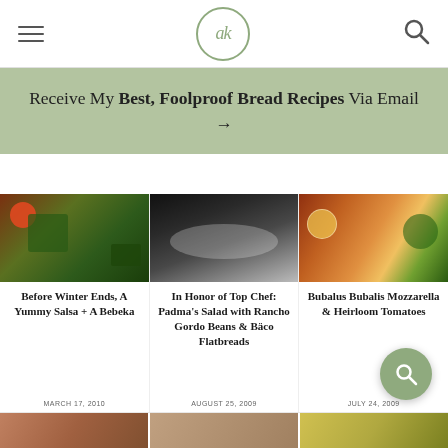ak logo, hamburger menu, search icon
Receive My Best, Foolproof Bread Recipes Via Email →
[Figure (photo): Food blog card image 1: herbs and vegetables on wooden surface]
Before Winter Ends, A Yummy Salsa + A Bebeka
MARCH 17, 2010
[Figure (photo): Food blog card image 2: dark bowl with white cream/dip]
In Honor of Top Chef: Padma's Salad with Rancho Gordo Beans & Bäco Flatbreads
AUGUST 25, 2009
[Figure (photo): Food blog card image 3: heirloom tomatoes on wooden board]
Bubalus Bubalis Mozzarella & Heirloom Tomatoes
JULY 24, 2009